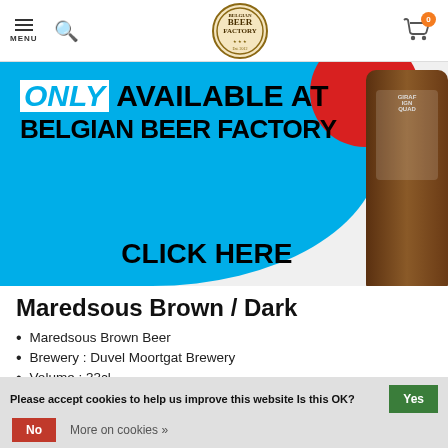MENU | Search | Belgian Beer Factory Logo | Cart (0)
[Figure (screenshot): Promotional banner with cyan background, text 'ONLY AVAILABLE AT BELGIAN BEER FACTORY CLICK HERE', red circle accent, and partial beer bottle image on the right]
Maredsous Brown / Dark
Maredsous Brown Beer
Brewery : Duvel Moortgat Brewery
Volume : 33cl
Alcohol Content (ABV) : 8%
Fermentation :
Please accept cookies to help us improve this website Is this OK?  Yes  No  More on cookies »